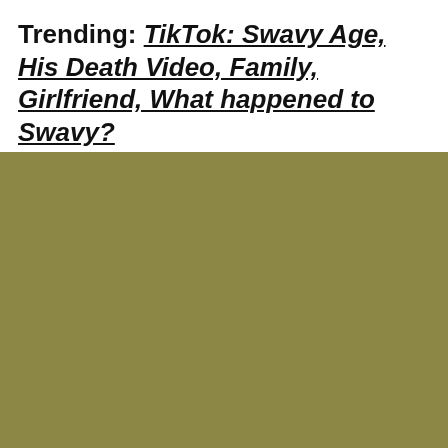Trending: TikTok: Swavy Age, His Death Video, Family, Girlfriend, What happened to Swavy?
[Figure (other): Olive/khaki colored rectangle filling the lower two-thirds of the page, representing a partially loaded or placeholder image area.]